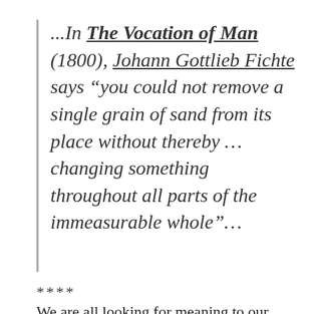...In The Vocation of Man (1800), Johann Gottlieb Fichte says “you could not remove a single grain of sand from its place without thereby ... changing something throughout all parts of the immeasurable whole”...
****
We are all looking for meaning to our